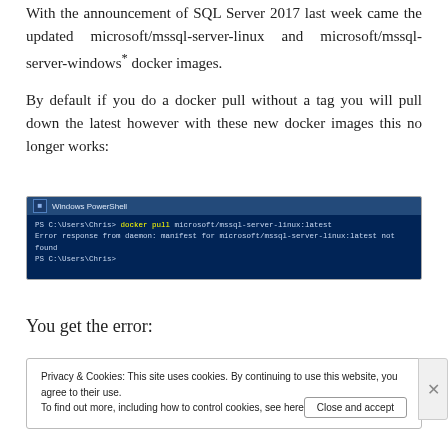With the announcement of SQL Server 2017 last week came the updated microsoft/mssql-server-linux and microsoft/mssql-server-windows* docker images.
By default if you do a docker pull without a tag you will pull down the latest however with these new docker images this no longer works:
[Figure (screenshot): Windows PowerShell terminal showing command: docker pull microsoft/mssql-server-linux:latest with error: Error response from daemon: manifest for microsoft/mssql-server-linux:latest not found]
You get the error:
Privacy & Cookies: This site uses cookies. By continuing to use this website, you agree to their use. To find out more, including how to control cookies, see here: Cookie Policy